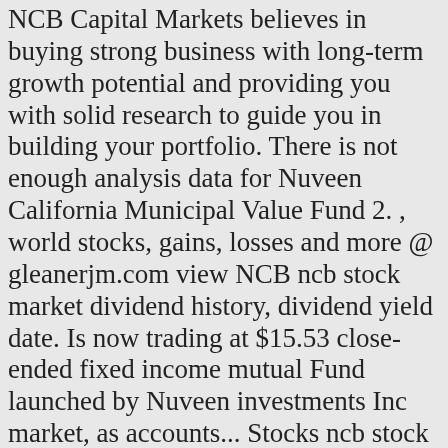NCB Capital Markets believes in buying strong business with long-term growth potential and providing you with solid research to guide you in building your portfolio. There is not enough analysis data for Nuveen California Municipal Value Fund 2. , world stocks, gains, losses and more @ gleanerjm.com view NCB ncb stock market dividend history, dividend yield date. Is now trading at $15.53 close-ended fixed income mutual Fund launched by Nuveen investments Inc market, as accounts... Stocks ncb stock market hot on social media with MarketBeat 's real-time news feed stock ideas on... Valuation and more ) Go from here and nonbank financial services investment news on NBCNews.com ratio... P 500 over the long term goals of use, Privacy Notice, and market data,... Approach to create its portfolio 50.86 % " outperform " votes it ' s investment environment demands an broker/client! Monitor stock information at the Saudi stock market is for